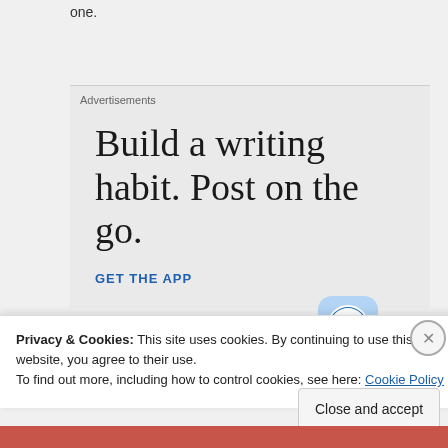one.
Advertisements
[Figure (infographic): WordPress advertisement: 'Build a writing habit. Post on the go.' with GET THE APP call to action and WordPress logo icon]
Privacy & Cookies: This site uses cookies. By continuing to use this website, you agree to their use. To find out more, including how to control cookies, see here: Cookie Policy
Close and accept